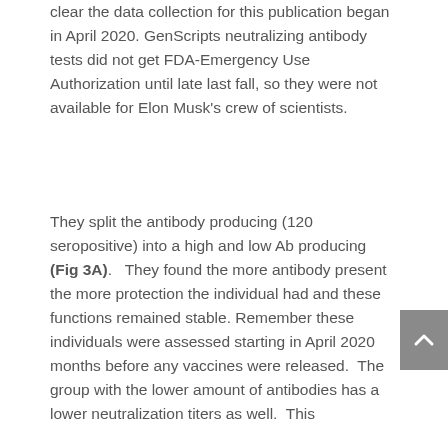clear the data collection for this publication began in April 2020. GenScripts neutralizing antibody tests did not get FDA-Emergency Use Authorization until late last fall, so they were not available for Elon Musk's crew of scientists.
They split the antibody producing (120 seropositive) into a high and low Ab producing (Fig 3A).   They found the more antibody present the more protection the individual had and these functions remained stable.  Remember these individuals were assessed starting in April 2020 months before any vaccines were released.  The group with the lower amount of antibodies has a lower neutralization titers as well.  This